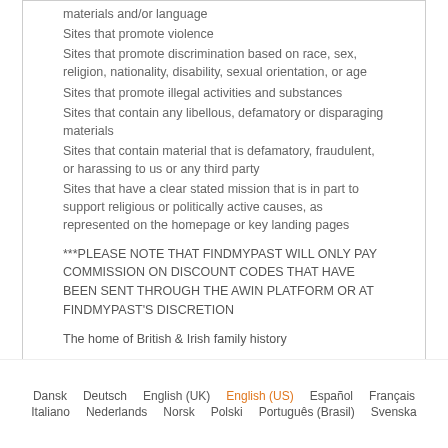materials and/or language
Sites that promote violence
Sites that promote discrimination based on race, sex, religion, nationality, disability, sexual orientation, or age
Sites that promote illegal activities and substances
Sites that contain any libellous, defamatory or disparaging materials
Sites that contain material that is defamatory, fraudulent, or harassing to us or any third party
Sites that have a clear stated mission that is in part to support religious or politically active causes, as represented on the homepage or key landing pages
***PLEASE NOTE THAT FINDMYPAST WILL ONLY PAY COMMISSION ON DISCOUNT CODES THAT HAVE BEEN SENT THROUGH THE AWIN PLATFORM OR AT FINDMYPAST'S DISCRETION
The home of British & Irish family history
Dansk  Deutsch  English (UK)  English (US)  Español  Français  Italiano  Nederlands  Norsk  Polski  Português (Brasil)  Svenska